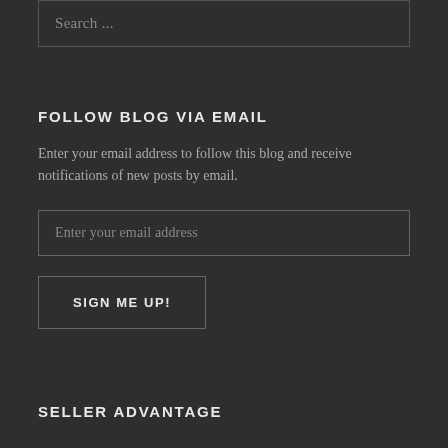Search ...
FOLLOW BLOG VIA EMAIL
Enter your email address to follow this blog and receive notifications of new posts by email.
Enter your email address
SIGN ME UP!
SELLER ADVANTAGE